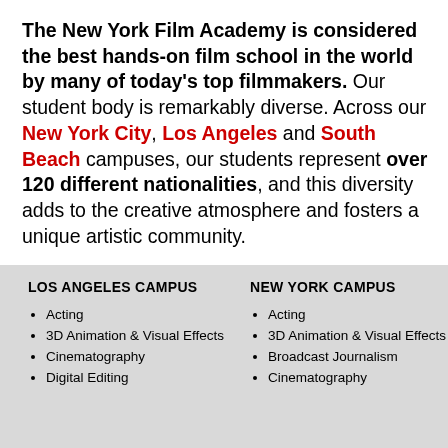The New York Film Academy is considered the best hands-on film school in the world by many of today's top filmmakers. Our student body is remarkably diverse. Across our New York City, Los Angeles and South Beach campuses, our students represent over 120 different nationalities, and this diversity adds to the creative atmosphere and fosters a unique artistic community.
LOS ANGELES CAMPUS
Acting
3D Animation & Visual Effects
Cinematography
Digital Editing
NEW YORK CAMPUS
Acting
3D Animation & Visual Effects
Broadcast Journalism
Cinematography